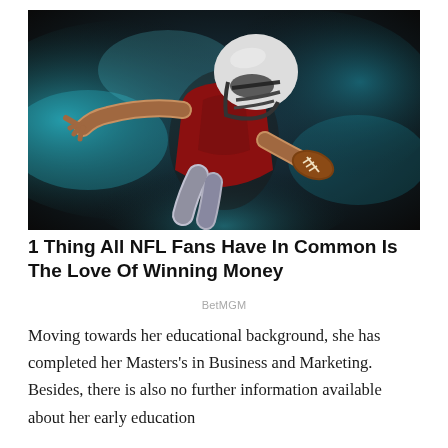[Figure (photo): Action photo of an American football player in a dark red jersey and white helmet, diving forward holding a football, surrounded by blue powder/smoke on a dark background.]
1 Thing All NFL Fans Have In Common Is The Love Of Winning Money
BetMGM
Moving towards her educational background, she has completed her Masters’s in Business and Marketing. Besides, there is also no further information available about her early education